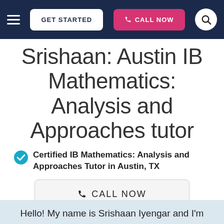GET STARTED | CALL NOW
Srishaan: Austin IB Mathematics: Analysis and Approaches tutor
Certified IB Mathematics: Analysis and Approaches Tutor in Austin, TX
CALL NOW
GET STARTED
Hello! My name is Srishaan Iyengar and I'm